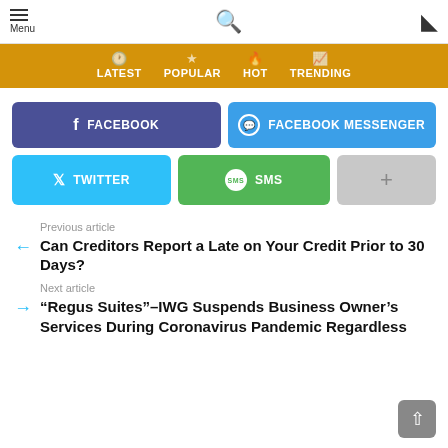Menu | Search | Dark mode toggle
LATEST | POPULAR | HOT | TRENDING
[Figure (screenshot): Social share buttons: Facebook, Facebook Messenger, Twitter, SMS, More]
Previous article
Can Creditors Report a Late on Your Credit Prior to 30 Days?
Next article
“Regus Suites”–IWG Suspends Business Owner’s Services During Coronavirus Pandemic Regardless